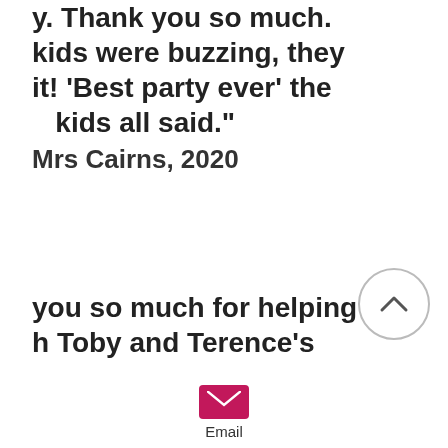y. Thank you so much. kids were buzzing, they it! 'Best party ever' the kids all said." Mrs Cairns, 2020
you so much for helping h Toby and Terence's n Saturday. Julious was t with the kids and they an excellent time. They e all thrilled with the als and trophies too!" Mrs Eddy, 2020
this has taken so long
[Figure (other): Email icon button - envelope icon on pink/magenta background with 'Email' label below]